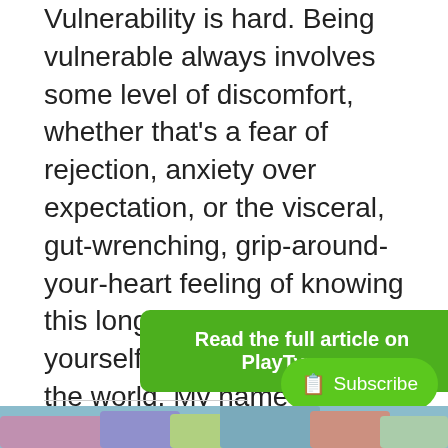Vulnerability is hard. Being vulnerable always involves some level of discomfort, whether that's a fear of rejection, anxiety over expectation, or the visceral, gut-wrenching, grip-around-your-heart feeling of knowing this long deep-hidden part of yourself is now out there in the world. My name is Barney and I get turned on by clowns. Follow along as I share my journey towards self-acceptance and why I feel conversations around vulnerability and niche kinks are so important.
[Figure (other): Green rounded rectangle button with white bold text: Read the full article on PlayTyme.co]
[Figure (other): Green pill-shaped subscribe button with document icon and text: Subscribe]
[Figure (photo): Partial colorful image visible at the bottom of the page]